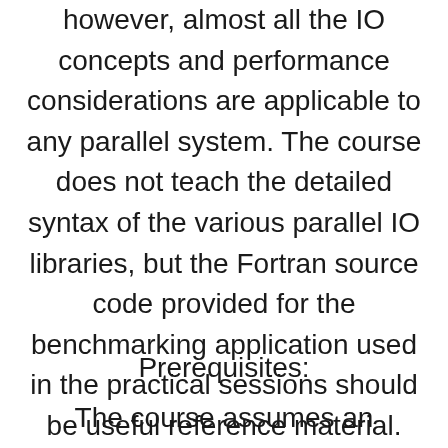however, almost all the IO concepts and performance considerations are applicable to any parallel system. The course does not teach the detailed syntax of the various parallel IO libraries, but the Fortran source code provided for the benchmarking application used in the practical sessions should be useful reference material.
Prerequisites:
The course assumes an understanding